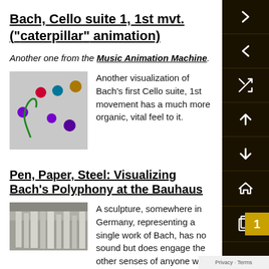Bach, Cello suite 1, 1st mvt. ("caterpillar" animation)
Another one from the Music Animation Machine.
[Figure (illustration): Screenshot from music animation showing colored dots on gray background representing notes, with a green curved line]
Another visualization of Bach's first Cello suite, 1st movement has a much more organic, vital feel to it.
Pen, Paper, Steel: Visualizing Bach's Polyphony at the Bauhaus
[Figure (photo): Photograph of tall stone or concrete sculpture pillars in a forested area in Germany]
A sculpture, somewhere in Germany, representing a single work of Bach, has no sound but does engage the other senses of anyone who cares to pass through it.